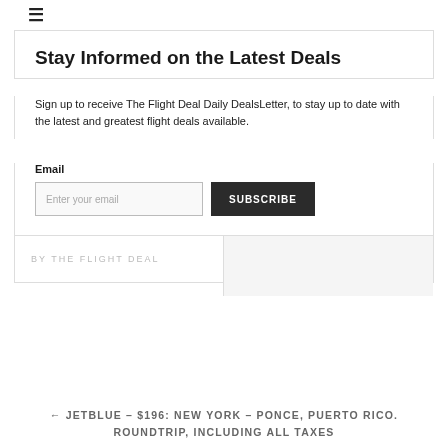≡
Stay Informed on the Latest Deals
Sign up to receive The Flight Deal Daily DealsLetter, to stay up to date with the latest and greatest flight deals available.
Email
Enter your email  SUBSCRIBE
BY THE FLIGHT DEAL
← JETBLUE – $196: NEW YORK – PONCE, PUERTO RICO. ROUNDTRIP, INCLUDING ALL TAXES